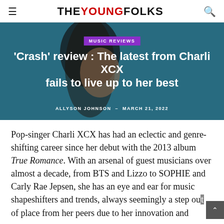THE YOUNG FOLKS
[Figure (photo): Photo of Charli XCX against a blue sky background, with music reviews badge and article title overlay]
'Crash' review : The latest from Charli XCX fails to live up to her best
ALLYSON JOHNSON – MARCH 21, 2022
Pop-singer Charli XCX has had an eclectic and genre-shifting career since her debut with the 2013 album True Romance. With an arsenal of guest musicians over almost a decade, from BTS and Lizzo to SOPHIE and Carly Rae Jepsen, she has an eye and ear for music shapeshifters and trends, always seemingly a step out of place from her peers due to her innovation and